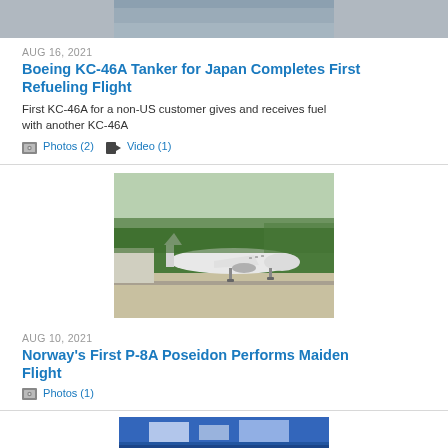[Figure (photo): Partial top image of aircraft or aerial scene, cropped]
AUG 16, 2021
Boeing KC-46A Tanker for Japan Completes First Refueling Flight
First KC-46A for a non-US customer gives and receives fuel with another KC-46A
Photos (2)  Video (1)
[Figure (photo): Military aircraft (P-8A Poseidon) taking off or landing on a runway with trees in background]
AUG 10, 2021
Norway's First P-8A Poseidon Performs Maiden Flight
Photos (1)
[Figure (photo): Partial bottom image, appears to show blue and white subject, cropped at bottom of page]